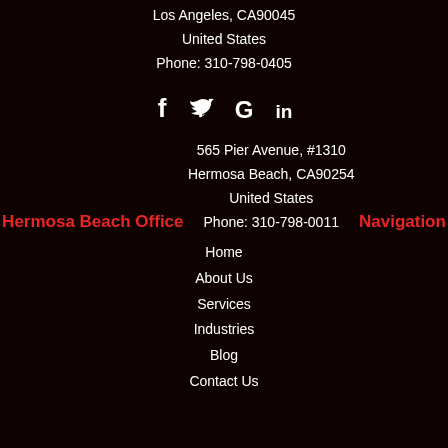Los Angeles, CA90045
United States
Phone: 310-798-0405
[Figure (infographic): Social media icons: Facebook (f), Twitter (bird), Google (G), LinkedIn (in)]
Hermosa Beach Office
565 Pier Avenue, #1310
Hermosa Beach, CA90254
United States
Phone: 310-798-0011
Navigation
Home
About Us
Services
Industries
Blog
Contact Us